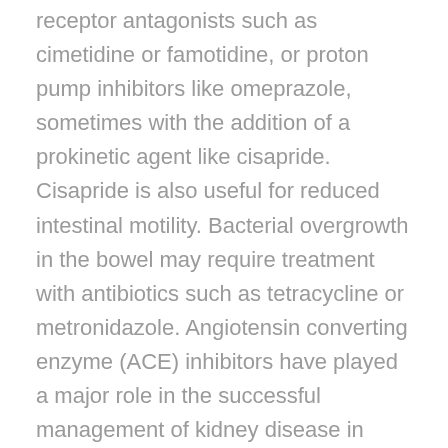receptor antagonists such as cimetidine or famotidine, or proton pump inhibitors like omeprazole, sometimes with the addition of a prokinetic agent like cisapride. Cisapride is also useful for reduced intestinal motility. Bacterial overgrowth in the bowel may require treatment with antibiotics such as tetracycline or metronidazole. Angiotensin converting enzyme (ACE) inhibitors have played a major role in the successful management of kidney disease in scleroderma. Inflammatory arthritis in early scleroderma is treated with anti-inflammatory drugs.
Recommended supplement for scleroderma